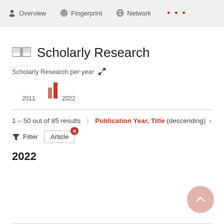Overview  Fingerprint  Network  ...
Scholarly Research
[Figure (bar-chart): Scholarly Research per year]
1 – 50 out of 85 results
Publication Year, Title (descending) ›
Filter  Article
2022